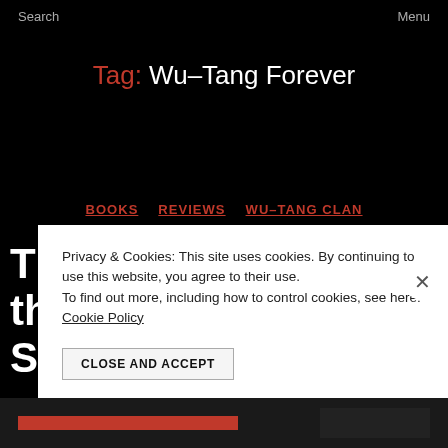Search   Menu
Tag: Wu-Tang Forever
BOOKS   REVIEWS   WU-TANG CLAN
The Reality Behind the Myth – “From Staircase to Stage”
Privacy & Cookies: This site uses cookies. By continuing to use this website, you agree to their use.
To find out more, including how to control cookies, see here: Cookie Policy
CLOSE AND ACCEPT